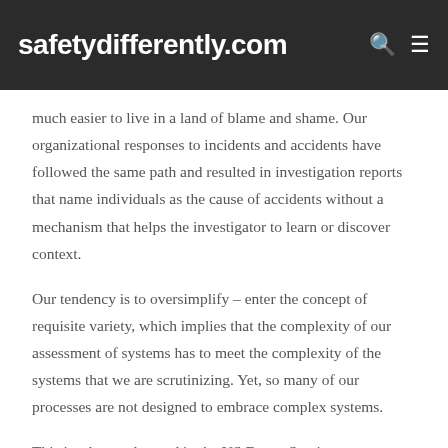safetydifferently.com
much easier to live in a land of blame and shame. Our organizational responses to incidents and accidents have followed the same path and resulted in investigation reports that name individuals as the cause of accidents without a mechanism that helps the investigator to learn or discover context.
Our tendency is to oversimplify – enter the concept of requisite variety, which implies that the complexity of our assessment of systems has to meet the complexity of the systems that we are scrutinizing. Yet, so many of our processes are not designed to embrace complex systems.
This is what we learned in the US Forest Service, as we attempted to investigate fatal accidents. The